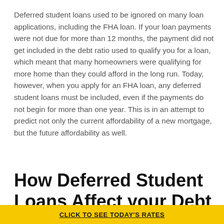Deferred student loans used to be ignored on many loan applications, including the FHA loan. If your loan payments were not due for more than 12 months, the payment did not get included in the debt ratio used to qualify you for a loan, which meant that many homeowners were qualifying for more home than they could afford in the long run. Today, however, when you apply for an FHA loan, any deferred student loans must be included, even if the payments do not begin for more than one year. This is in an attempt to predict not only the current affordability of a new mortgage, but the future affordability as well.
How Deferred Student Loans Affect your Debt Ratio
CLICK TO SEE TODAY'S RATES